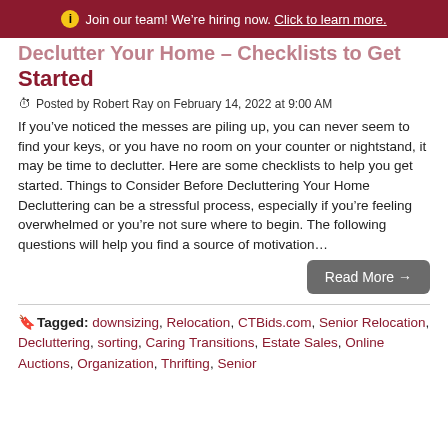ℹ Join our team! We're hiring now. Click to learn more.
Declutter Your Home – Checklists to Get Started
Posted by Robert Ray on February 14, 2022 at 9:00 AM
If you've noticed the messes are piling up, you can never seem to find your keys, or you have no room on your counter or nightstand, it may be time to declutter. Here are some checklists to help you get started. Things to Consider Before Decluttering Your Home Decluttering can be a stressful process, especially if you're feeling overwhelmed or you're not sure where to begin. The following questions will help you find a source of motivation…
Read More →
Tagged: downsizing, Relocation, CTBids.com, Senior Relocation, Decluttering, sorting, Caring Transitions, Estate Sales, Online Auctions, Organization, Thrifting, Senior